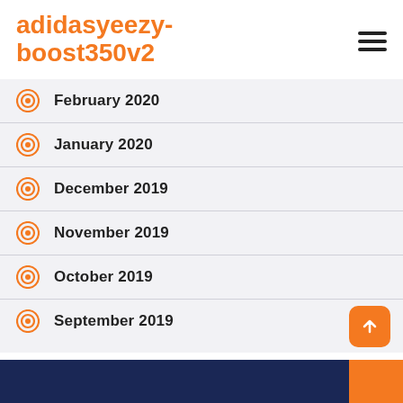adidasyeezy-boost350v2
February 2020
January 2020
December 2019
November 2019
October 2019
September 2019